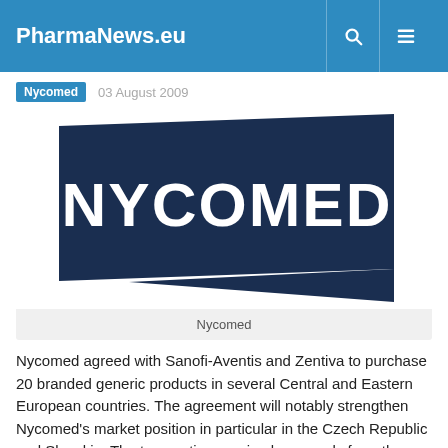PharmaNews.eu
Nycomed   03 August 2009
[Figure (logo): Nycomed company logo — white text 'NYCOMED' on dark navy blue angular/trapezoidal background shape]
Nycomed
Nycomed agreed with Sanofi-Aventis and Zentiva to purchase 20 branded generic products in several Central and Eastern European countries. The agreement will notably strengthen Nycomed's market position in particular in the Czech Republic and Slovakia. The transaction received approvals from the